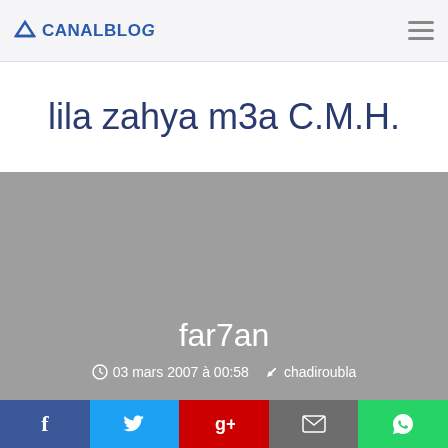CANALBLOG
lila zahya m3a C.M.H.
[Figure (photo): Gray placeholder image area with blog post title 'far7an' and metadata overlay]
far7an
03 mars 2007 à 00:58   chadiroubla
Social share bar: Facebook, Twitter, Google+, Email, WhatsApp